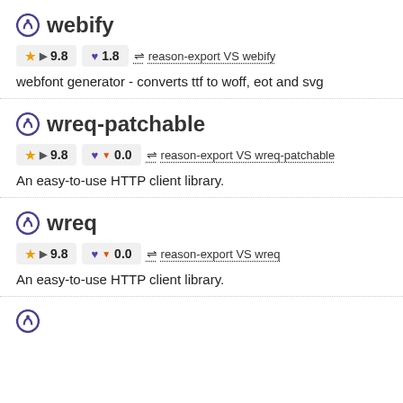webify
★ ▶ 9.8   ♥ 1.8   ⇌ reason-export VS webify
webfont generator - converts ttf to woff, eot and svg
wreq-patchable
★ ▶ 9.8   ♥ ▼ 0.0   ⇌ reason-export VS wreq-patchable
An easy-to-use HTTP client library.
wreq
★ ▶ 9.8   ♥ ▼ 0.0   ⇌ reason-export VS wreq
An easy-to-use HTTP client library.